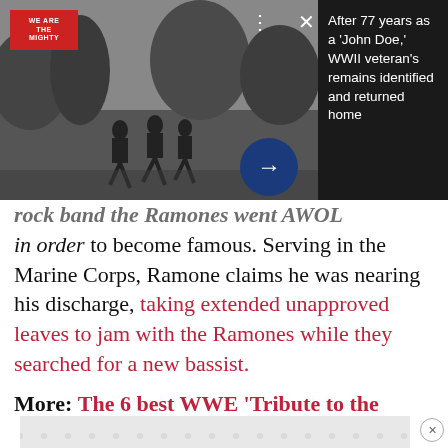[Figure (photo): Black and white photo of soldiers running, overlaid with a dark popup panel showing article preview. Logo 'We Are The Mighty' in top left. Three-dot menu and X close button visible. Dark right panel shows article headline text. Blue arrow button in lower center.]
After 77 years as a 'John Doe,' WWII veteran's remains identified and returned home
rock band the Ramones went AWOL in order to become famous. Serving in the Marine Corps, Ramone claims he was nearing his discharge, taking extended unapproved leaves to jam with the Ramones while they searched for a new bassist.
More: The 6 best WWE 'Tribute to the Troops' moments